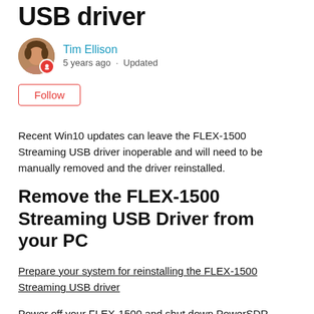USB driver
[Figure (photo): Round avatar photo of Tim Ellison with a red badge icon below-right]
Tim Ellison
5 years ago · Updated
Follow
Recent Win10 updates can leave the FLEX-1500 Streaming USB driver inoperable and will need to be manually removed and the driver reinstalled.
Remove the FLEX-1500 Streaming USB Driver from your PC
Prepare your system for reinstalling the FLEX-1500 Streaming USB driver
Power off your FLEX-1500 and shut down PowerSDR